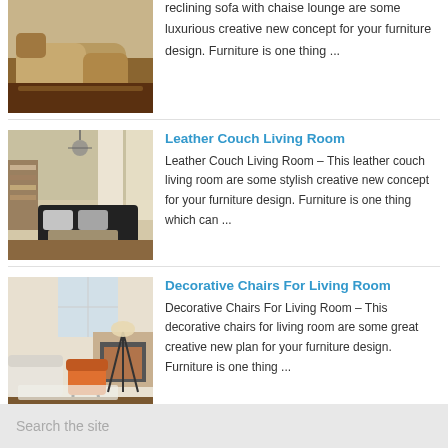[Figure (photo): Reclining sofa with chaise lounge in a living room setting]
reclining sofa with chaise lounge are some luxurious creative new concept for your furniture design. Furniture is one thing ...
[Figure (photo): Leather couch living room interior with chandelier and curtains]
Leather Couch Living Room
Leather Couch Living Room – This leather couch living room are some stylish creative new concept for your furniture design. Furniture is one thing which can ...
[Figure (photo): Decorative chairs for living room with orange accent chair and fireplace]
Decorative Chairs For Living Room
Decorative Chairs For Living Room – This decorative chairs for living room are some great creative new plan for your furniture design. Furniture is one thing ...
Search the site